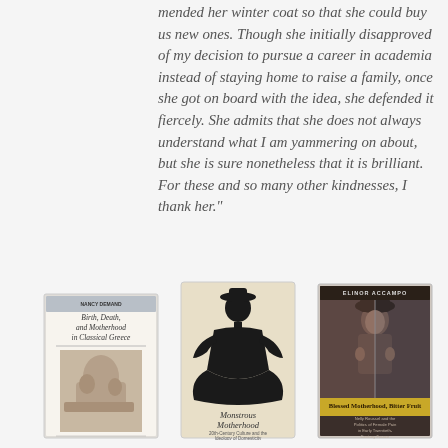mended her winter coat so that she could buy us new ones. Though she initially disapproved of my decision to pursue a career in academia instead of staying home to raise a family, once she got on board with the idea, she defended it fiercely. She admits that she does not always understand what I am yammering on about, but she is sure nonetheless that it is brilliant. For these and so many other kindnesses, I thank her."
[Figure (photo): Book cover: 'Birth, Death, and Motherhood in Classical Greece' by Nancy Demand, featuring a stone relief carving]
[Figure (photo): Book cover: 'Monstrous Motherhood: 20th-Century Culture and the Ideology of Domesticity' featuring a black silhouette of a woman]
[Figure (photo): Book cover: 'Blessed Motherhood, Bitter Fruit' by Elinor Accampo, featuring a vintage photograph of a woman]